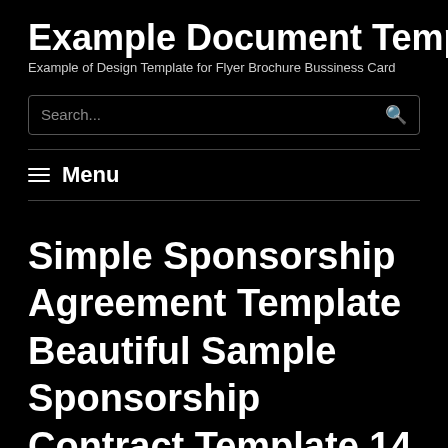Example Document Template
Example of Design Template for Flyer Brochure Bussiness Card
Search...
Menu
Simple Sponsorship Agreement Template Beautiful Sample Sponsorship Contract Template 14 Documents In